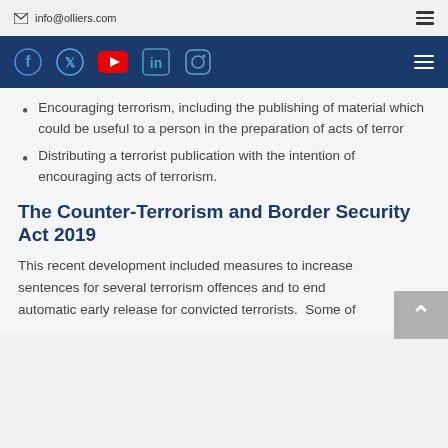info@olliers.com
Encouraging terrorism, including the publishing of material which could be useful to a person in the preparation of acts of terror
Distributing a terrorist publication with the intention of encouraging acts of terrorism.
The Counter-Terrorism and Border Security Act 2019
This recent development included measures to increase sentences for several terrorism offences and to end automatic early release for convicted terrorists. Some of